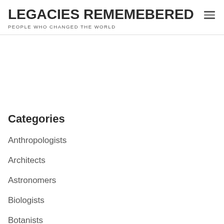LEGACIES REMEMEBERED
PEOPLE WHO CHANGED THE WORLD
Categories
Anthropologists
Architects
Astronomers
Biologists
Botanists
Cartographers
Chemists
Geneticians